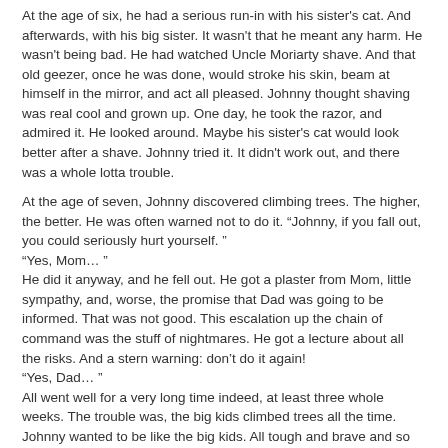At the age of six, he had a serious run-in with his sister's cat. And afterwards, with his big sister. It wasn't that he meant any harm. He wasn't being bad. He had watched Uncle Moriarty shave. And that old geezer, once he was done, would stroke his skin, beam at himself in the mirror, and act all pleased. Johnny thought shaving was real cool and grown up. One day, he took the razor, and admired it. He looked around. Maybe his sister's cat would look better after a shave. Johnny tried it. It didn't work out, and there was a whole lotta trouble.
At the age of seven, Johnny discovered climbing trees. The higher, the better. He was often warned not to do it. “Johnny, if you fall out, you could seriously hurt yourself. ”
“Yes, Mom… ”
He did it anyway, and he fell out. He got a plaster from Mom, little sympathy, and, worse, the promise that Dad was going to be informed. That was not good. This escalation up the chain of command was the stuff of nightmares. He got a lecture about all the risks. And a stern warning: don’t do it again!
“Yes, Dad… ”
All went well for a very long time indeed, at least three whole weeks. The trouble was, the big kids climbed trees all the time. Johnny wanted to be like the big kids. All tough and brave and so independent.
One day, a big kid challenged Johnny to climb this big old oak tree.
“I can’t,” Johnny said sadly. “I’m not allowed to… My Dad says so.”